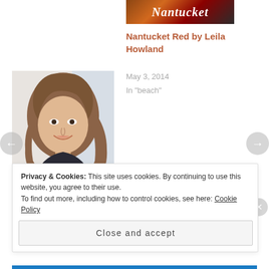[Figure (photo): Book cover image for Nantucket Red by Leila Howland, showing stylized text 'Nantucket' in script]
Nantucket Red by Leila Howland
May 3, 2014
In "beach"
[Figure (photo): Author photo of Jenna Evans Welch, a young woman with long brown hair smiling near a window]
2016 Debut Authors Bash: Jenna Evans Welch and Love & Gelato!
June 7, 2016
In "clean teen"
Privacy & Cookies: This site uses cookies. By continuing to use this website, you agree to their use.
To find out more, including how to control cookies, see here: Cookie Policy
Close and accept